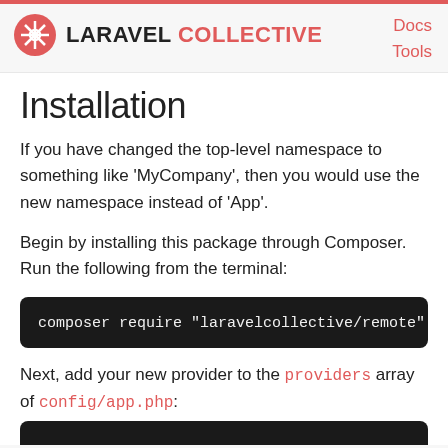LARAVEL COLLECTIVE | Docs | Tools
Installation
If you have changed the top-level namespace to something like 'MyCompany', then you would use the new namespace instead of 'App'.
Begin by installing this package through Composer. Run the following from the terminal:
Next, add your new provider to the providers array of config/app.php: